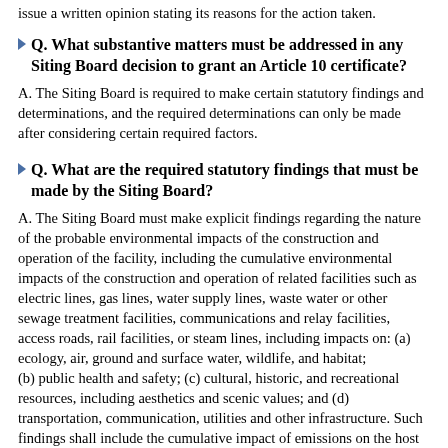issue a written opinion stating its reasons for the action taken.
Q. What substantive matters must be addressed in any Siting Board decision to grant an Article 10 certificate?
A. The Siting Board is required to make certain statutory findings and determinations, and the required determinations can only be made after considering certain required factors.
Q. What are the required statutory findings that must be made by the Siting Board?
A. The Siting Board must make explicit findings regarding the nature of the probable environmental impacts of the construction and operation of the facility, including the cumulative environmental impacts of the construction and operation of related facilities such as electric lines, gas lines, water supply lines, waste water or other sewage treatment facilities, communications and relay facilities, access roads, rail facilities, or steam lines, including impacts on: (a) ecology, air, ground and surface water, wildlife, and habitat;
(b) public health and safety; (c) cultural, historic, and recreational resources, including aesthetics and scenic values; and (d) transportation, communication, utilities and other infrastructure. Such findings shall include the cumulative impact of emissions on the host community, including that the construction and...